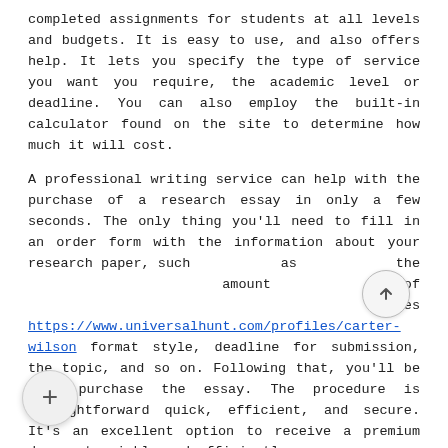completed assignments for students at all levels and budgets. It is easy to use, and also offers help. It lets you specify the type of service you want you require, the academic level or deadline. You can also employ the built-in calculator found on the site to determine how much it will cost.
A professional writing service can help with the purchase of a research essay in only a few seconds. The only thing you'll need to fill in an order form with the information about your research paper, such as the amount of pages https://www.universalhunt.com/profiles/carter-wilson format style, deadline for submission, the topic, and so on. Following that, you'll be able purchase the essay. The procedure is straightforward quick, efficient, and secure. It's an excellent option to receive a premium document quickly and efficiently.
SpeedyPaper is a low-cost service that is able to provide top-quality papers in a very short period of time. They've been operating in the field of writing research papers for years, and they offer an affordable option for students. PayForEssay can write papers within 7 hours. PayForEssay pricing starts at $11 per page and go at a price to write the Ph.D. dissertation.